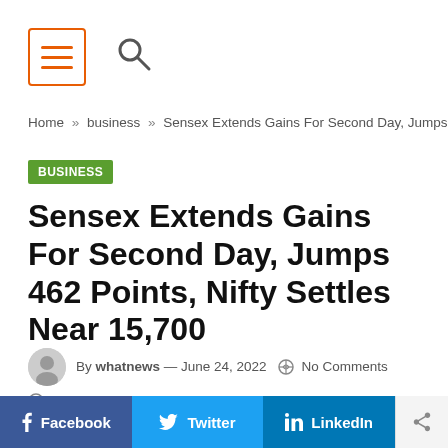[Figure (screenshot): Navigation header with orange-bordered menu (hamburger) icon and search icon]
Home » business » Sensex Extends Gains For Second Day, Jumps 462 P...
BUSINESS
Sensex Extends Gains For Second Day, Jumps 462 Points, Nifty Settles Near 15,700
By whatnews — June 24, 2022  No Comments
3 Mins Read
Facebook  Twitter  LinkedIn